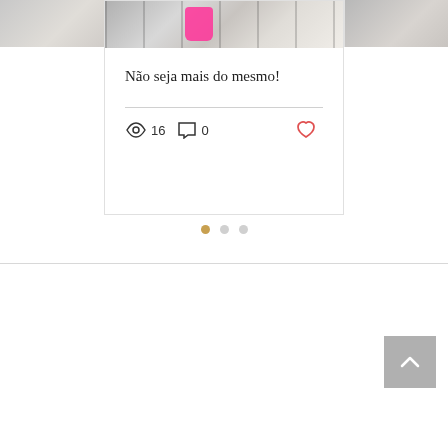[Figure (photo): Partial photo on left side showing fashion/clothing items in grey and beige tones]
[Figure (photo): Center card top photo showing person holding pink handbag wearing grey sweater]
[Figure (photo): Partial photo on right side showing similar fashion/clothing scene]
Não seja mais do mesmo!
16 views  0 comments  Like post
Carousel navigation dots (1 active, 2 inactive)
[Figure (other): Back to top button with upward chevron arrow on grey background]